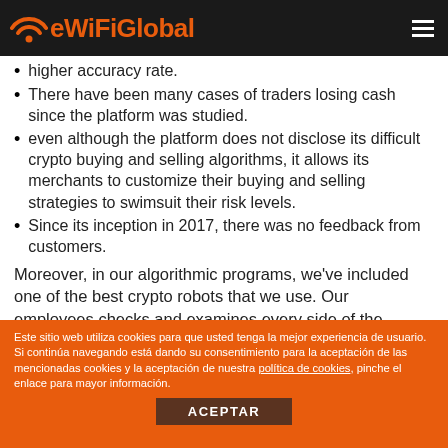eWiFiGlobal
higher accuracy rate.
There have been many cases of traders losing cash since the platform was studied.
even although the platform does not disclose its difficult crypto buying and selling algorithms, it allows its merchants to customize their buying and selling strategies to swimsuit their risk levels.
Since its inception in 2017, there was no feedback from customers.
Moreover, in our algorithmic programs, we've included one of the best crypto robots that we use. Our employees checks and examines every side of the system including the regulatory, monetary, operational, and marketing
Este sitio web utiliza cookies para que usted tenga la mejor experiencia de usuario. Si continúa navegando está dando su consentimiento para la aceptación de las mencionadas cookies y la aceptación de nuestra política de cookies, pinche el enlace para mayor información. ACEPTAR